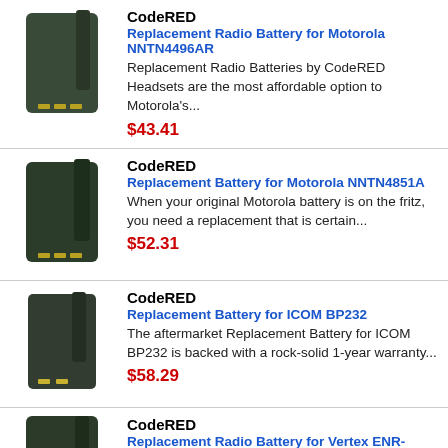CodeRED | Replacement Radio Battery for Motorola NNTN4496AR | Replacement Radio Batteries by CodeRED Headsets are the most affordable option to Motorola's... | $43.41
CodeRED | Replacement Battery for Motorola NNTN4851A | When your original Motorola battery is on the fritz, you need a replacement that is certain... | $52.31
CodeRED | Replacement Battery for ICOM BP232 | The aftermarket Replacement Battery for ICOM BP232 is backed with a rock-solid 1-year warranty... | $58.29
CodeRED | Replacement Radio Battery for Vertex ENR-V117LI